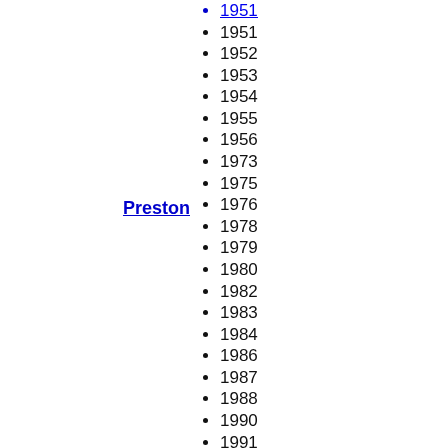1951
1952
1953
1954
1955
1956
1973
1975
1976
1978
1979
1980
1982
1983
1984
1986
1987
1988
1990
Preston
1991
1992
1994
1995
1996
1998